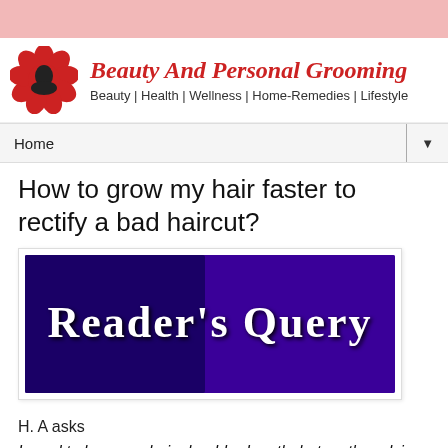[Figure (illustration): Pink bar at top of page, decorative header banner]
[Figure (logo): Beauty And Personal Grooming website logo with flower icon and site title in red italic serif font, subtitle: Beauty | Health | Wellness | Home-Remedies | Lifestyle]
Home ▼
How to grow my hair faster to rectify a bad haircut?
[Figure (illustration): Reader's Query banner image — white decorative text on dark blue/purple gradient background]
H. A asks
I used to keep my hair shoulder-length, but on the advice and under the influence of some friends, I had it cut very short. Now I feel very depressed and the sight of short hair grieves me. How can I make it grow back long quickly?